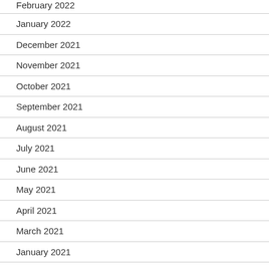February 2022
January 2022
December 2021
November 2021
October 2021
September 2021
August 2021
July 2021
June 2021
May 2021
April 2021
March 2021
January 2021
December 2020